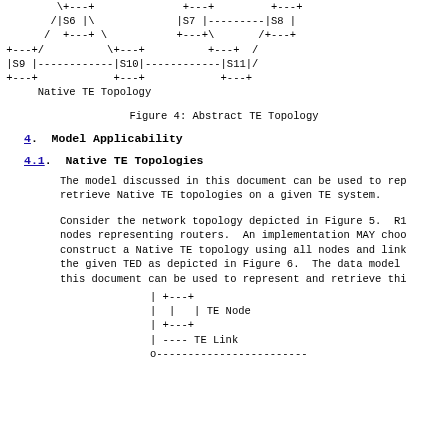[Figure (schematic): ASCII art diagram showing Native TE Topology with nodes S6-S11 connected by lines representing links]
Figure 4: Abstract TE Topology
4.  Model Applicability
4.1.  Native TE Topologies
The model discussed in this document can be used to rep
retrieve Native TE topologies on a given TE system.
Consider the network topology depicted in Figure 5.  R1
nodes representing routers.  An implementation MAY choo
construct a Native TE topology using all nodes and link
the given TED as depicted in Figure 6.  The data model
this document can be used to represent and retrieve thi
[Figure (schematic): ASCII art legend showing TE Node box symbol and TE Link dashed line symbol]